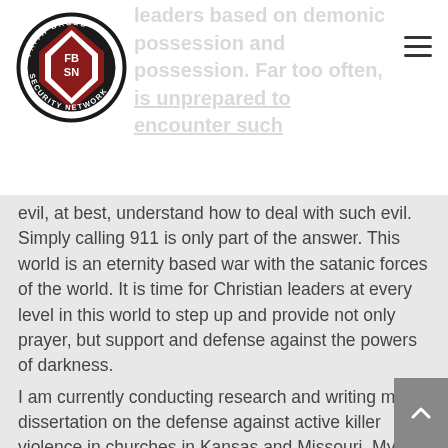Faith Based Security Network logo and navigation
leaders based on demonic possession and possession. Far too often, is unprepared to encounter such evil, at best, understand how to deal with such evil. Simply calling 911 is only part of the answer. This world is an eternity based war with the satanic forces of the world. It is time for Christian leaders at every level in this world to step up and provide not only prayer, but support and defense against the powers of darkness. I am currently conducting research and writing my dissertation on the defense against active killer violence in churches in Kansas and Missouri. My goal is to gain a stronger understanding of the threat, as well as raise awareness within the church as I complete the process.